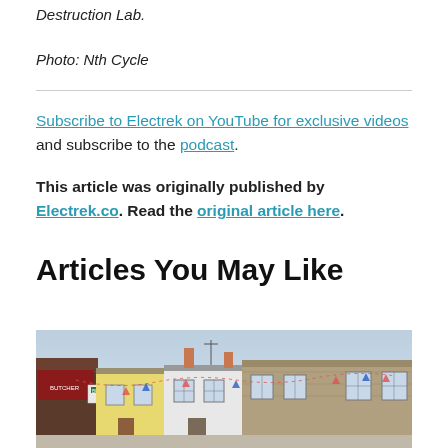Destruction Lab.
Photo: Nth Cycle
Subscribe to Electrek on YouTube for exclusive videos and subscribe to the podcast.
This article was originally published by Electrek.co. Read the original article here.
Articles You May Like
[Figure (photo): Street scene with row of low buildings including a butcher shop with signage, yellow and white rendered terraced houses, and stone buildings. Bunting visible. Overcast sky.]